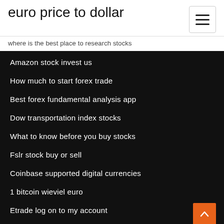euro price to dollar
where is the best place to research stocks
Amazon stock invest us
How much to start forex trade
Best forex fundamental analysis app
Dow transportation index stocks
What to know before you buy stocks
Fslr stock buy or sell
Coinbase supported digital currencies
1 bitcoin wieviel euro
Etrade log on to my account